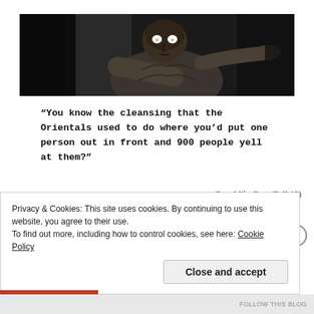[Figure (photo): Black and white dramatic photo of a shirtless man with glowing white eyes, crouching and pointing forward in a dark setting]
“You know the cleansing that the Orientals used to do where you’d put one person out in front and 900 people yell at them?”
—Rep. Mike Bost (R-IL12)
Wait … what?
Privacy & Cookies: This site uses cookies. By continuing to use this website, you agree to their use.
To find out more, including how to control cookies, see here: Cookie Policy
Close and accept